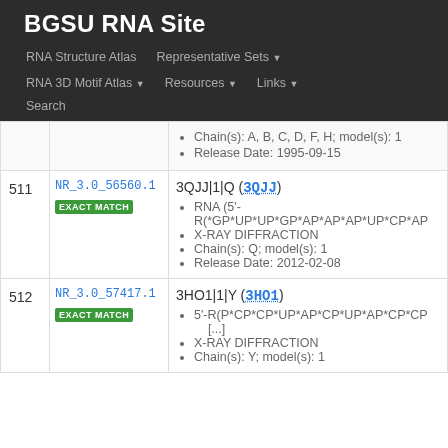BGSU RNA Site
RNA Structure Atlas
Representative Sets
RNA 3D Motif Atlas
Resources
Links
Search
| # | ID | Details |
| --- | --- | --- |
|  |  | Chain(s): A, B, C, D, F, H; model(s): 1
Release Date: 1995-09-15 |
| 511 | NR_3.0_56560.1
EXACT MATCH | 3QJJ|1|Q (3QJJ)
RNA (5'-R(*GP*UP*UP*GP*AP*AP*AP*UP*CP*AP
X-RAY DIFFRACTION
Chain(s): Q; model(s): 1
Release Date: 2012-02-08 |
| 512 | NR_3.0_57417.1
EXACT MATCH | 3HO1|1|Y (3HO1)
5'-R(P*CP*CP*UP*AP*CP*UP*AP*CP*CP [...]
X-RAY DIFFRACTION
Chain(s): Y; model(s): 1 |